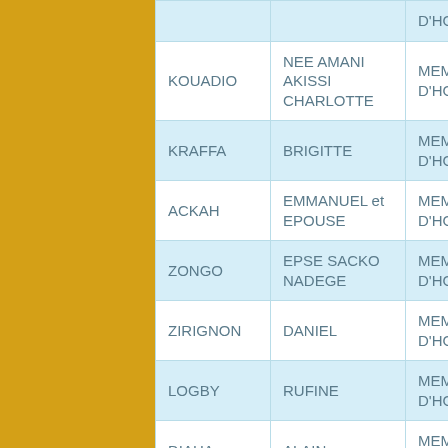| NOM | PRÉNOM | QUALITÉ |
| --- | --- | --- |
|  |  | D'HONNEUR |
| KOUADIO | NEE AMANI AKISSI CHARLOTTE | MEMBRE D'HONNEUR |
| KRAFFA | BRIGITTE | MEMBRE D'HONNEUR |
| ACKAH | EMMANUEL et EPOUSE | MEMBRE D'HONNEUR |
| ZONGO | EPSE SACKO NADEGE | MEMBRE D'HONNEUR |
| ZIRIGNON | DANIEL | MEMBRE D'HONNEUR |
| LOGBY | RUFINE | MEMBRE D'HONNEUR |
| DIAHA | ALAIN | MEMBRE D'HONNEUR |
| GUEDE | VICTOIRE | MEMBRE D'HONNEUR |